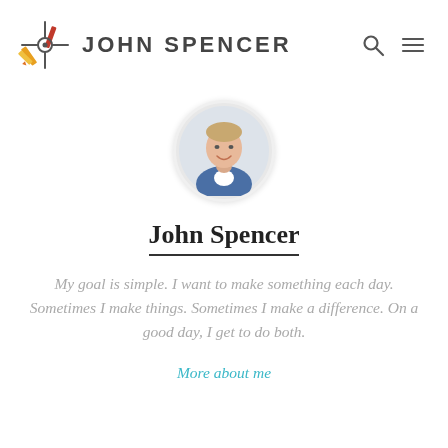JOHN SPENCER
[Figure (photo): Circular headshot photo of John Spencer, a smiling man with short hair against a light background]
John Spencer
My goal is simple. I want to make something each day. Sometimes I make things. Sometimes I make a difference. On a good day, I get to do both.
More about me